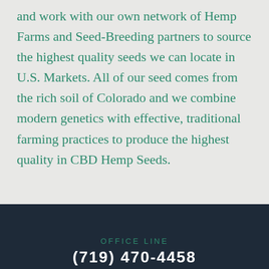and work with our own network of Hemp Farms and Seed-Breeding partners to source the highest quality seeds we can locate in U.S. Markets. All of our seed comes from the rich soil of Colorado and we combine modern genetics with effective, traditional farming practices to produce the highest quality in CBD Hemp Seeds.
OFFICE LINE
(719) 470-4458